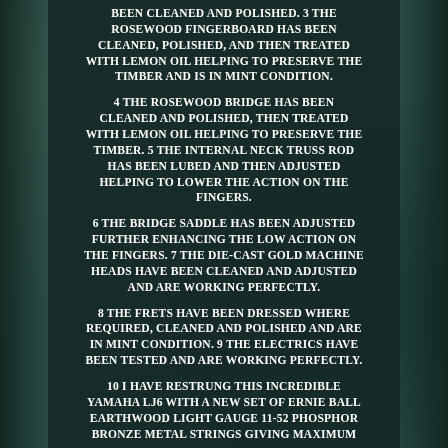BEEN CLEANED AND POLISHED. 3 THE ROSEWOOD FINGERBOARD HAS BEEN CLEANED, POLISHED, AND THEN TREATED WITH LEMON OIL HELPING TO PRESERVE THE TIMBER AND IS IN MINT CONDITION.
4 THE ROSEWOOD BRIDGE HAS BEEN CLEANED AND POLISHED, THEN TREATED WITH LEMON OIL HELPING TO PRESERVE THE TIMBER. 5 THE INTERNAL NECK TRUSS ROD HAS BEEN LUBED AND THEN ADJUSTED HELPING TO LOWER THE ACTION ON THE FINGERS.
6 THE BRIDGE SADDLE HAS BEEN ADJUSTED FURTHER ENHANCING THE LOW ACTION ON THE FINGERS. 7 THE DIE-CAST GOLD MACHINE HEADS HAVE BEEN CLEANED AND ADJUSTED AND ARE WORKING PERFECTLY.
8 THE FRETS HAVE BEEN DRESSED WHERE REQUIRED, CLEANED AND POLISHED AND ARE IN MINT CONDITION. 9 THE ELECTRICS HAVE BEEN TESTED AND ARE WORKING PERFECTLY.
10 I HAVE RESTRUNG THIS INCREDIBLE YAMAHA LJ6 WITH A NEW SET OF ERNIE BALL EARTHWOOD LIGHT GAUGE 11-52 PHOSPHOR BRONZE METAL STRINGS GIVING MAXIMUM